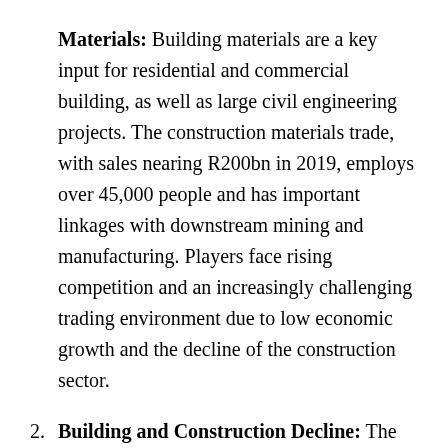Materials: Building materials are a key input for residential and commercial building, as well as large civil engineering projects. The construction materials trade, with sales nearing R200bn in 2019, employs over 45,000 people and has important linkages with downstream mining and manufacturing. Players face rising competition and an increasingly challenging trading environment due to low economic growth and the decline of the construction sector.
Building and Construction Decline: The trade in construction materials has been affected by South Africa's prolonged economic stagnation and the ongoing weakness in the building and construction sectors. Several construction companies have applied for business rescue